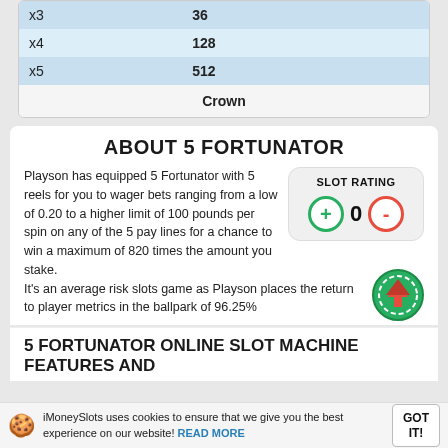| x3 | 36 |
| x4 | 128 |
| x5 | 512 |
| Crown |  |
ABOUT 5 FORTUNATOR
Playson has equipped 5 Fortunator with 5 reels for you to wager bets ranging from a low of 0.20 to a higher limit of 100 pounds per spin on any of the 5 pay lines for a chance to win a maximum of 820 times the amount you stake. It's an average risk slots game as Playson places the return to player metrics in the ballpark of 96.25%
[Figure (infographic): Slot Rating box with plus and minus buttons and 0 rating]
[Figure (illustration): Green casino chip with red arrow icon]
5 FORTUNATOR ONLINE SLOT MACHINE FEATURES AND
iMoneySlots uses cookies to ensure that we give you the best experience on our website! READ MORE